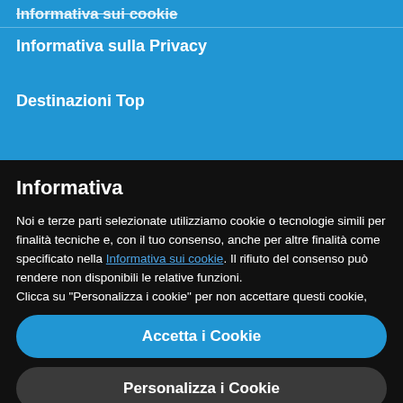Informativa sui cookie
Informativa sulla Privacy
Destinazioni Top
Informativa
Noi e terze parti selezionate utilizziamo cookie o tecnologie simili per finalità tecniche e, con il tuo consenso, anche per altre finalità come specificato nella Informativa sui cookie. Il rifiuto del consenso può rendere non disponibili le relative funzioni.
Clicca su "Personalizza i cookie" per non accettare questi cookie, gestire le tue preferenze ulteriori o saperne di più.
Puoi modificare le tue preferenze in qualsiasi momento visitando la pagina sulle Preferenze cookie, come descritto nell'Informativa sui cookie.
Accetta i Cookie
Personalizza i Cookie